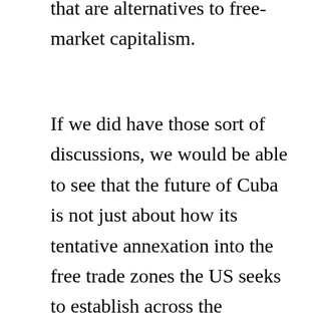serious discussions about economic systems that are alternatives to free-market capitalism.
If we did have those sort of discussions, we would be able to see that the future of Cuba is not just about how its tentative annexation into the free trade zones the US seeks to establish across the hemisphere will affect foreign investment and local consumption patterns. That is, ask not how you can become a tourist in Varadero or sell tractors there—ask how Cubans themselves will balance their desire for more access to goods and material wealth with their desire to preserve the social safety net that free-market capitalists hope to